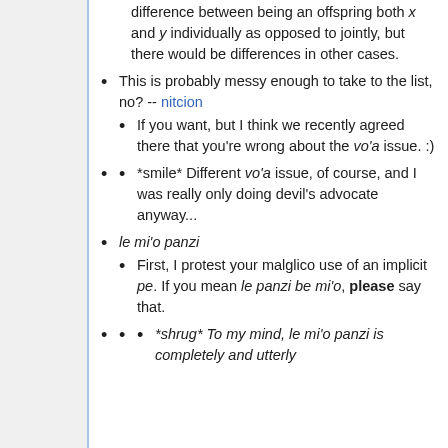difference between being an offspring both x and y individually as opposed to jointly, but there would be differences in other cases.
This is probably messy enough to take to the list, no? -- nitcion
If you want, but I think we recently agreed there that you're wrong about the vo'a issue. :)
*smile* Different vo'a issue, of course, and I was really only doing devil's advocate anyway...
le mi'o panzi
First, I protest your malglico use of an implicit pe. If you mean le panzi be mi'o, please say that.
*shrug* To my mind, le mi'o panzi is completely and utterly